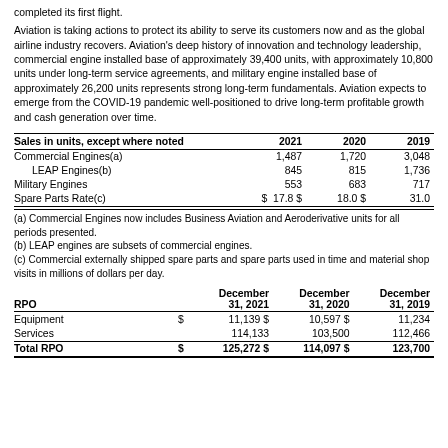completed its first flight.
Aviation is taking actions to protect its ability to serve its customers now and as the global airline industry recovers. Aviation's deep history of innovation and technology leadership, commercial engine installed base of approximately 39,400 units, with approximately 10,800 units under long-term service agreements, and military engine installed base of approximately 26,200 units represents strong long-term fundamentals. Aviation expects to emerge from the COVID-19 pandemic well-positioned to drive long-term profitable growth and cash generation over time.
| Sales in units, except where noted | 2021 | 2020 | 2019 |
| --- | --- | --- | --- |
| Commercial Engines(a) | 1,487 | 1,720 | 3,048 |
|   LEAP Engines(b) | 845 | 815 | 1,736 |
| Military Engines | 553 | 683 | 717 |
| Spare Parts Rate(c) | $ 17.8 | $ 18.0 | $ 31.0 |
(a) Commercial Engines now includes Business Aviation and Aeroderivative units for all periods presented.
(b) LEAP engines are subsets of commercial engines.
(c) Commercial externally shipped spare parts and spare parts used in time and material shop visits in millions of dollars per day.
| RPO | December 31, 2021 | December 31, 2020 | December 31, 2019 |
| --- | --- | --- | --- |
| Equipment | $ 11,139 | $ 10,597 | $ 11,234 |
| Services | 114,133 | 103,500 | 112,466 |
| Total RPO | $ 125,272 | $ 114,097 | $ 123,700 |